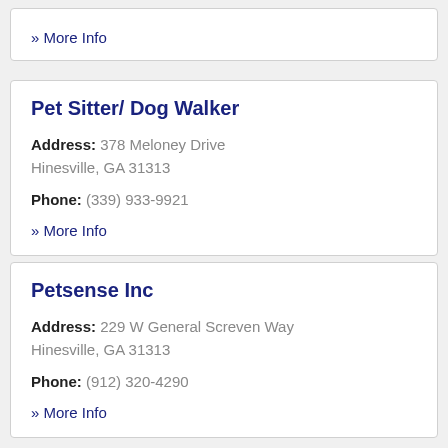» More Info
Pet Sitter/ Dog Walker
Address: 378 Meloney Drive Hinesville, GA 31313
Phone: (339) 933-9921
» More Info
Petsense Inc
Address: 229 W General Screven Way Hinesville, GA 31313
Phone: (912) 320-4290
» More Info